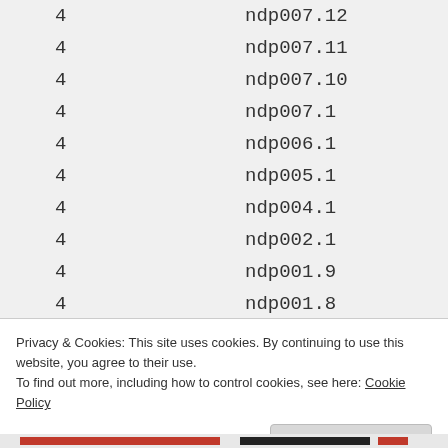|  |  |
| --- | --- |
| 4 | ndp007.12 |
| 4 | ndp007.11 |
| 4 | ndp007.10 |
| 4 | ndp007.1 |
| 4 | ndp006.1 |
| 4 | ndp005.1 |
| 4 | ndp004.1 |
| 4 | ndp002.1 |
| 4 | ndp001.9 |
| 4 | ndp001.8 |
| 4 | ndp001.7 |
Privacy & Cookies: This site uses cookies. By continuing to use this website, you agree to their use.
To find out more, including how to control cookies, see here: Cookie Policy